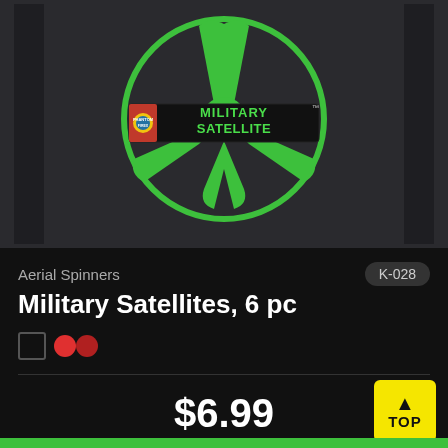[Figure (photo): Product image of Military Satellite firework against a dark background with green nuclear/radiation symbol design]
Aerial Spinners
K-028
Military Satellites, 6 pc
$6.99
Add to Favorites